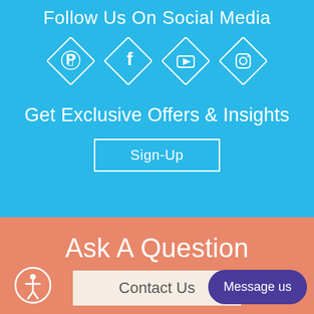Follow Us On Social Media
[Figure (illustration): Four diamond-shaped icons for social media: Pinterest, Facebook, YouTube, Instagram]
Get Exclusive Offers & Insights
Sign-Up
Ask A Question
Contact Us
Message us